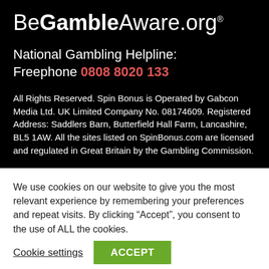BeGambleAware.org®
National Gambling Helpline:
Freephone 0808 8020 133
All Rights Reserved. Spin Bonus is Operated by Gabcon Media Ltd. UK Limited Company No. 08174609. Registered Address: Saddlers Barn, Butterfield Hall Farm, Lancashire, BL5 1AW. All the sites listed on SpinBonus.com are licensed and regulated in Great Britain by the Gambling Commission.
We use cookies on our website to give you the most relevant experience by remembering your preferences and repeat visits. By clicking “Accept”, you consent to the use of ALL the cookies.
Cookie settings
ACCEPT